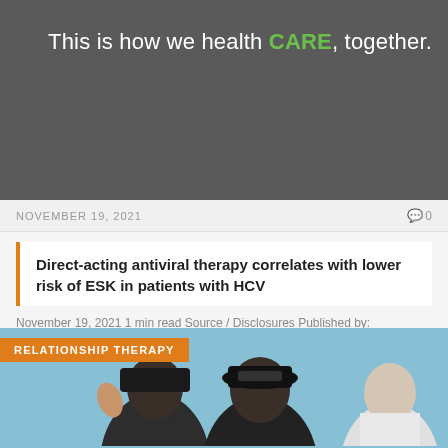[Figure (photo): Dark gray hero banner with text 'This is how we health CARE, together.' where CARE is in green bold font.]
NOVEMBER 19, 2021   0
Direct-acting antiviral therapy correlates with lower risk of ESK in patients with HCV
November 19, 2021 1 min read Source / Disclosures Published by: Source: Thomas F, et...
[Figure (photo): Photo of two people wearing black baseball caps at an outdoor event, with an orange label reading 'RELATIONSHIP THERAPY' overlaid in the upper left.]